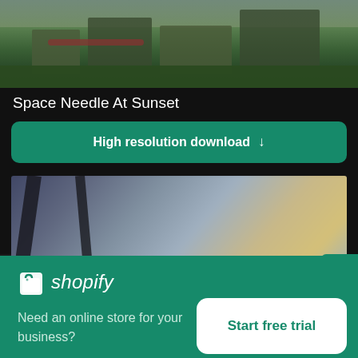[Figure (photo): Aerial city skyline photo with green trees and buildings, appears to be Seattle area, top portion of image visible]
Space Needle At Sunset
High resolution download ↓
[Figure (photo): Blurred photo showing what appears to be a metallic structure with birds or decorative elements in background, out of focus]
[Figure (logo): Shopify logo with shopping bag icon and italic shopify text in white]
Need an online store for your business?
Start free trial